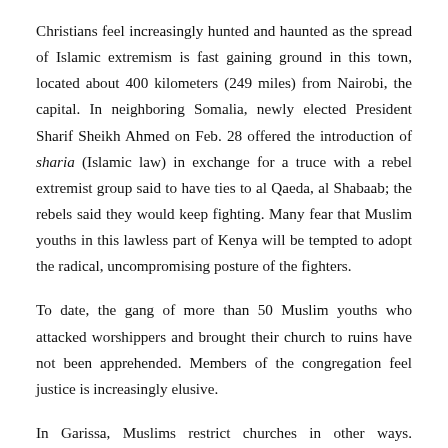Christians feel increasingly hunted and haunted as the spread of Islamic extremism is fast gaining ground in this town, located about 400 kilometers (249 miles) from Nairobi, the capital. In neighboring Somalia, newly elected President Sharif Sheikh Ahmed on Feb. 28 offered the introduction of sharia (Islamic law) in exchange for a truce with a rebel extremist group said to have ties to al Qaeda, al Shabaab; the rebels said they would keep fighting. Many fear that Muslim youths in this lawless part of Kenya will be tempted to adopt the radical, uncompromising posture of the fighters.
To date, the gang of more than 50 Muslim youths who attacked worshippers and brought their church to ruins have not been apprehended. Members of the congregation feel justice is increasingly elusive.
In Garissa, Muslims restrict churches in other ways. Christians